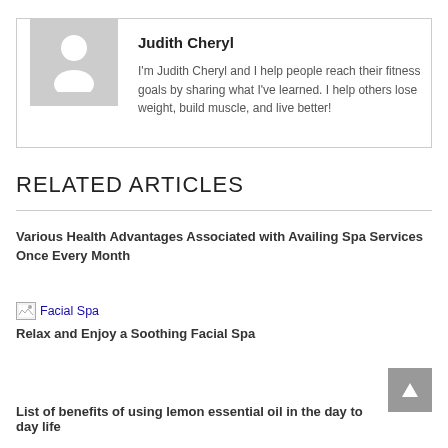[Figure (photo): Author avatar placeholder: grey square with white silhouette of a person]
Judith Cheryl
I'm Judith Cheryl and I help people reach their fitness goals by sharing what I've learned. I help others lose weight, build muscle, and live better!
RELATED ARTICLES
Various Health Advantages Associated with Availing Spa Services Once Every Month
[Figure (photo): Broken image icon link labeled 'Facial Spa']
Relax and Enjoy a Soothing Facial Spa
List of benefits of using lemon essential oil in the day to day life